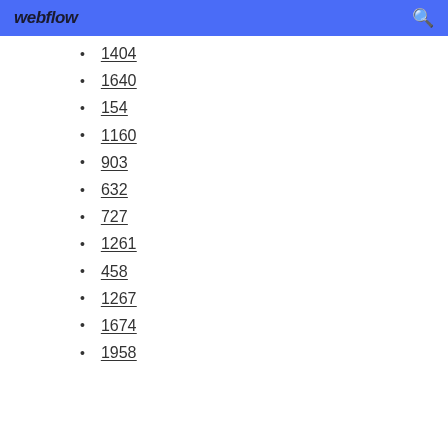webflow
1404
1640
154
1160
903
632
727
1261
458
1267
1674
1958